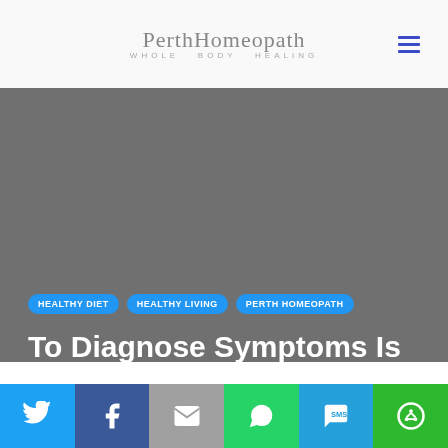PerthHomeopath WHOLE BODY HEALING
[Figure (photo): Grey/dark hero image background for blog post]
HEALTHY DIET
HEALTHY LIVING
PERTH HOMEOPATH
To Diagnose Symptoms Is
[Figure (infographic): Social sharing bar with Twitter, Facebook, Email, WhatsApp, SMS, and More buttons]